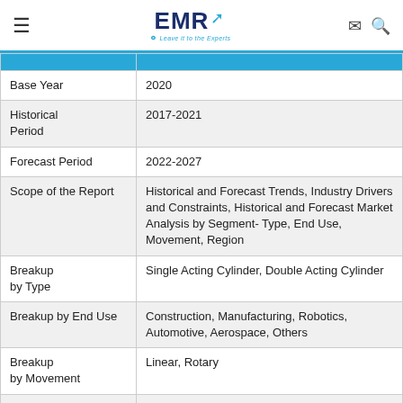EMR — Leave it to the Experts
|  |  |
| --- | --- |
| Base Year | 2020 |
| Historical Period | 2017-2021 |
| Forecast Period | 2022-2027 |
| Scope of the Report | Historical and Forecast Trends, Industry Drivers and Constraints, Historical and Forecast Market Analysis by Segment- Type, End Use, Movement, Region |
| Breakup by Type | Single Acting Cylinder, Double Acting Cylinder |
| Breakup by End Use | Construction, Manufacturing, Robotics, Automotive, Aerospace, Others |
| Breakup by Movement | Linear, Rotary |
| Breakup by | North America, Europe, Asia Pacific, Latin |